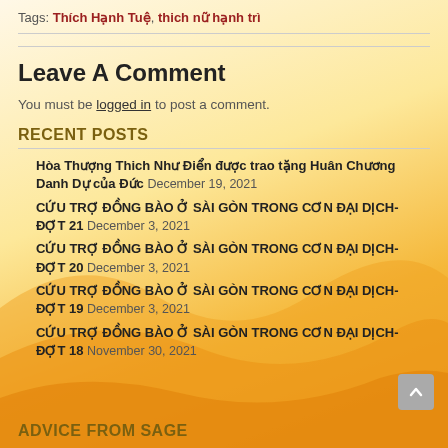Tags: Thích Hạnh Tuệ, thich nữ hạnh trì
Leave A Comment
You must be logged in to post a comment.
RECENT POSTS
Hòa Thượng Thich Như Điển được trao tặng Huân Chương Danh Dự của Đức December 19, 2021
CỨU TRỢ ĐỒNG BÀO Ở SÀI GÒN TRONG CƠN ĐẠI DỊCH- ĐỢT 21 December 3, 2021
CỨU TRỢ ĐỒNG BÀO Ở SÀI GÒN TRONG CƠN ĐẠI DỊCH- ĐỢT 20 December 3, 2021
CỨU TRỢ ĐỒNG BÀO Ở SÀI GÒN TRONG CƠN ĐẠI DỊCH- ĐỢT 19 December 3, 2021
CỨU TRỢ ĐỒNG BÀO Ở SÀI GÒN TRONG CƠN ĐẠI DỊCH- ĐỢT 18 November 30, 2021
ADVICE FROM SAGE